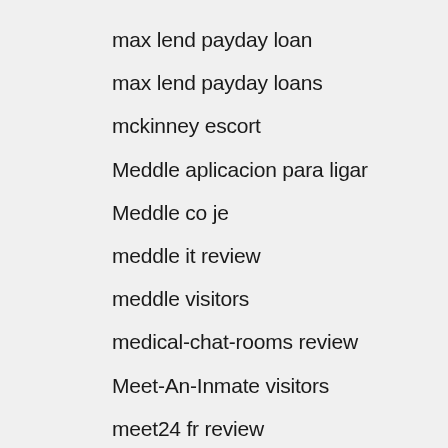max lend payday loan
max lend payday loans
mckinney escort
Meddle aplicacion para ligar
Meddle co je
meddle it review
meddle visitors
medical-chat-rooms review
Meet-An-Inmate visitors
meet24 fr review
meet24 ne demek